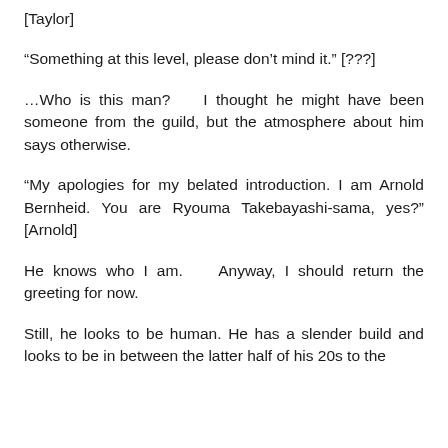[Taylor]
“Something at this level, please don’t mind it.” [???]
…Who is this man?    I thought he might have been someone from the guild, but the atmosphere about him says otherwise.
“My apologies for my belated introduction. I am Arnold Bernheid. You are Ryouma Takebayashi-sama, yes?” [Arnold]
He knows who I am.    Anyway, I should return the greeting for now.
Still, he looks to be human. He has a slender build and looks to be in between the latter half of his 20s to the